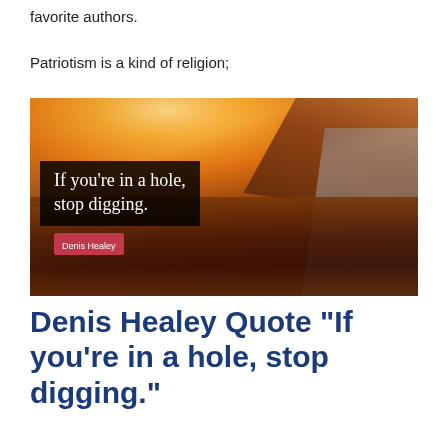favorite authors.
Patriotism is a kind of religion;
[Figure (photo): Outdoor landscape photo at sunset showing a dirt road, hillside, dry grasses, and warm golden light. Overlaid with a bold quote text box reading 'If you’re in a hole, stop digging.' and an author badge reading 'Denis Healey']
Denis Healey Quote “If you’re in a hole, stop digging.”